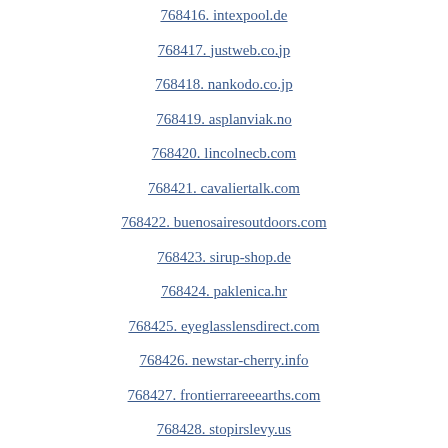768416. intexpool.de
768417. justweb.co.jp
768418. nankodo.co.jp
768419. asplanviak.no
768420. lincolnecb.com
768421. cavaliertalk.com
768422. buenosairesoutdoors.com
768423. sirup-shop.de
768424. paklenica.hr
768425. eyeglasslens direct.com
768426. newstar-cherry.info
768427. frontierrareeearths.com
768428. stopirslevy.us
768429. asteriskforum.ru
768430. aga-hotel-barrierefrei.de